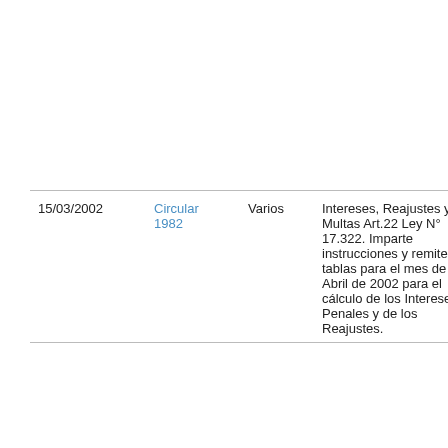| Fecha | Tipo | Categoría | Descripción | Acciones |
| --- | --- | --- | --- | --- |
|  |  |  |  |  |
| 15/03/2002 | Circular 1982 | Varios | Intereses, Reajustes y Multas Art.22 Ley N° 17.322. Imparte instrucciones y remite tablas para el mes de Abril de 2002 para el cálculo de los Intereses Penales y de los Reajustes. | +a / -a |